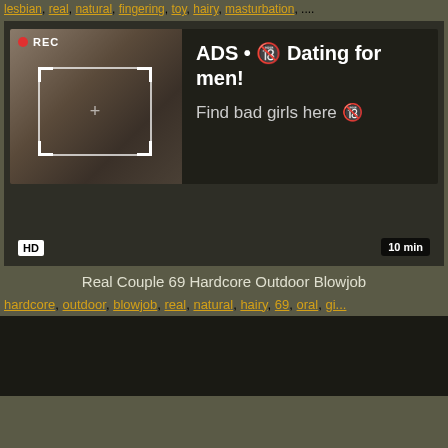lesbian, real, natural, fingering, toy, hairy, masturbation, ....
[Figure (screenshot): Video thumbnail with ad overlay showing a selfie photo with REC indicator and focus box, alongside ad text: ADS • Dating for men! Find bad girls here]
HD    10 min
Real Couple 69 Hardcore Outdoor Blowjob
hardcore, outdoor, blowjob, real, natural, hairy, 69, oral, gi...
[Figure (screenshot): Dark video thumbnail area]